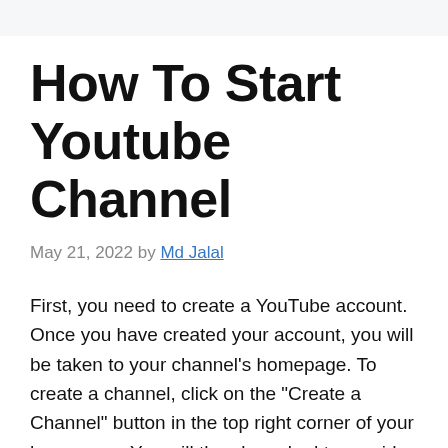How To Start Youtube Channel
May 21, 2022 by Md Jalal
First, you need to create a YouTube account. Once you have created your account, you will be taken to your channel’s homepage. To create a channel, click on the “Create a Channel” button in the top right corner of your homepage. You will then be asked to provide some information about your